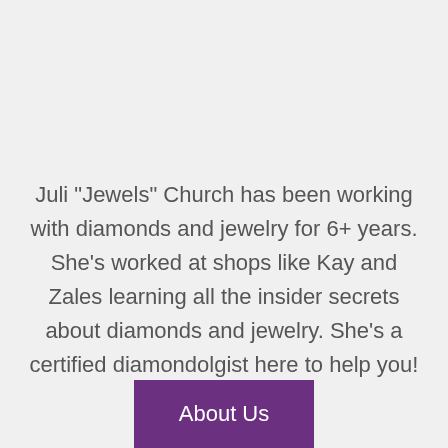Juli "Jewels" Church has been working with diamonds and jewelry for 6+ years. She's worked at shops like Kay and Zales learning all the insider secrets about diamonds and jewelry. She's a certified diamondolgist here to help you!
About Us